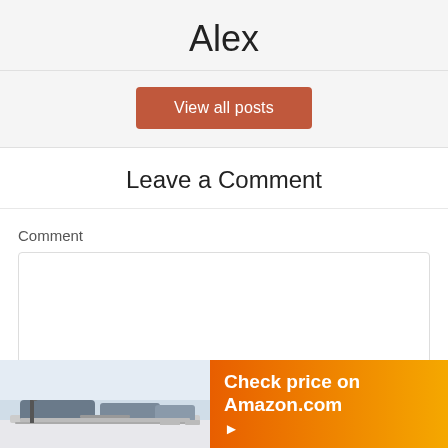Alex
View all posts
Leave a Comment
Comment
[Figure (screenshot): Amazon banner ad showing a sofa image on the left and orange gradient background on the right with text 'Check price on Amazon.com' and a play/arrow button]